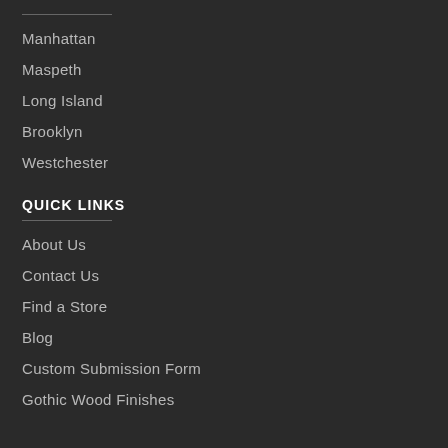Manhattan
Maspeth
Long Island
Brooklyn
Westchester
QUICK LINKS
About Us
Contact Us
Find a Store
Blog
Custom Submission Form
Gothic Wood Finishes